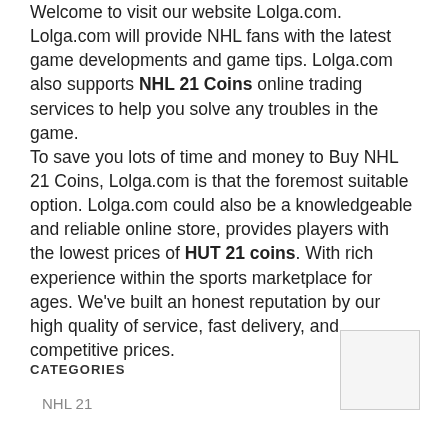Welcome to visit our website Lolga.com. Lolga.com will provide NHL fans with the latest game developments and game tips. Lolga.com also supports NHL 21 Coins online trading services to help you solve any troubles in the game. To save you lots of time and money to Buy NHL 21 Coins, Lolga.com is that the foremost suitable option. Lolga.com could also be a knowledgeable and reliable online store, provides players with the lowest prices of HUT 21 coins. With rich experience within the sports marketplace for ages. We've built an honest reputation by our high quality of service, fast delivery, and competitive prices.
CATEGORIES
NHL 21